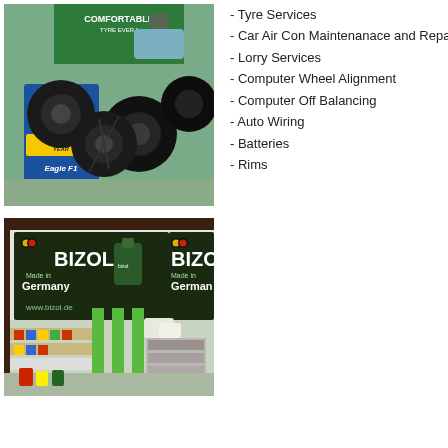[Figure (photo): Photo of Goodyear Eagle F1 tyres displayed in a tyre shop with a green 'Comfortable Tyre Ever' banner in background]
- Tyre Services
- Car Air Con Maintenanace and Repa...
- Lorry Services
- Computer Wheel Alignment
- Computer Off Balancing
- Auto Wiring
- Batteries
- Rims
[Figure (photo): Photo of BIZOL Made in Germany motor oil display stand with green shelving units and products inside a shop]